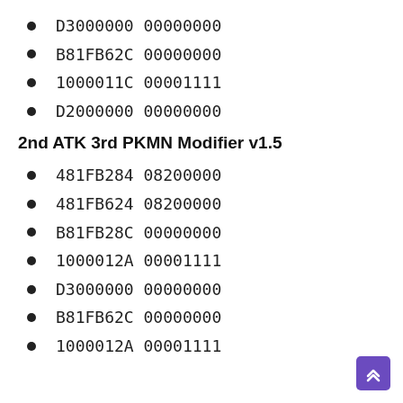D3000000 00000000
B81FB62C 00000000
1000011C 00001111
D2000000 00000000
2nd ATK 3rd PKMN Modifier v1.5
481FB284 08200000
481FB624 08200000
B81FB28C 00000000
1000012A 00001111
D3000000 00000000
B81FB62C 00000000
1000012A 00001111